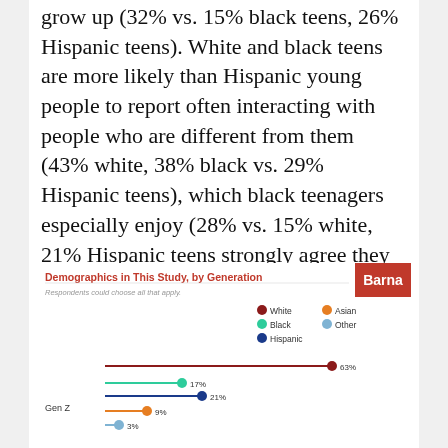grow up (32% vs. 15% black teens, 26% Hispanic teens). White and black teens are more likely than Hispanic young people to report often interacting with people who are different from them (43% white, 38% black vs. 29% Hispanic teens), which black teenagers especially enjoy (28% vs. 15% white, 21% Hispanic teens strongly agree they enjoy spending time with people who are different from them).
[Figure (other): Dot-line chart showing demographics by generation (Gen Z). Categories: White, Black, Hispanic, Asian, Other. Gen Z values: White 63%, Black 17%, Hispanic 21%, Asian 9%, Other 3%.]